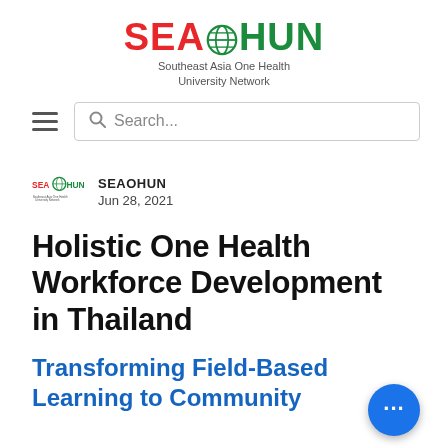[Figure (logo): SEAOHUN logo — Southeast Asia One Health University Network — with red SEA, green globe icon, and green OHUN text]
[Figure (screenshot): Navigation bar with hamburger menu icon and search box with placeholder text Search...]
SEAOHUN
Jun 28, 2021
Holistic One Health Workforce Development in Thailand
Transforming Field-Based Learning to Community